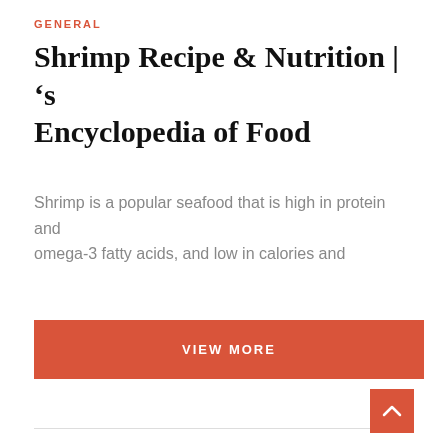GENERAL
Shrimp Recipe & Nutrition | 's Encyclopedia of Food
Shrimp is a popular seafood that is high in protein and omega-3 fatty acids, and low in calories and
[Figure (other): Orange/red rectangular button with white uppercase text reading VIEW MORE]
[Figure (other): Orange/red square scroll-to-top button with white upward chevron arrow]